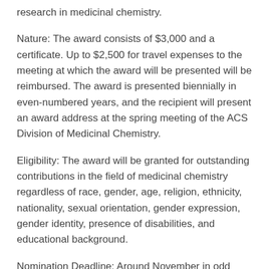research in medicinal chemistry.
Nature: The award consists of $3,000 and a certificate. Up to $2,500 for travel expenses to the meeting at which the award will be presented will be reimbursed. The award is presented biennially in even-numbered years, and the recipient will present an award address at the spring meeting of the ACS Division of Medicinal Chemistry.
Eligibility: The award will be granted for outstanding contributions in the field of medicinal chemistry regardless of race, gender, age, religion, ethnicity, nationality, sexual orientation, gender expression, gender identity, presence of disabilities, and educational background.
Nomination Deadline: Around November in odd years
Website for More Information:
https://www.acs.org/content/acs/en/funding-and-